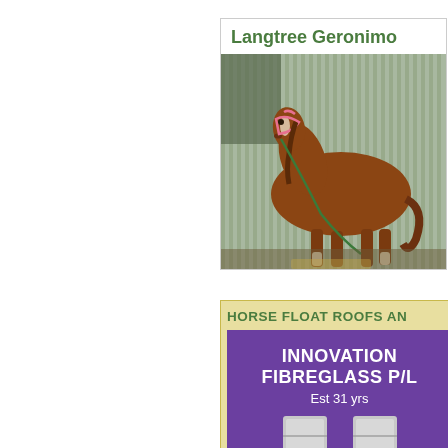Langtree Geronimo
[Figure (photo): A chestnut horse standing in a stable/shed with corrugated metal walls, wearing a pink halter, with a green lead rope on the ground.]
HORSE FLOAT ROOFS AN
[Figure (infographic): Purple box advertisement for Innovation Fibreglass P/L, Est 31 yrs, with images of fibreglass products at the bottom.]